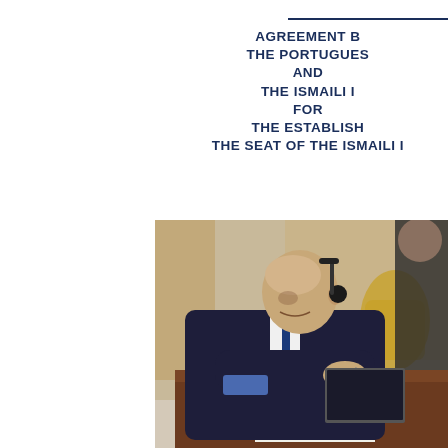AGREEMENT B... THE PORTUGUES... AND THE ISMAILI ... FOR THE ESTABLISH... THE SEAT OF THE ISMAILI I...
[Figure (photo): A man in a dark suit wearing a headset, signing a document at a wooden table. Another person stands behind him. The setting appears to be an ornate room with gold-colored chairs and draped curtains.]